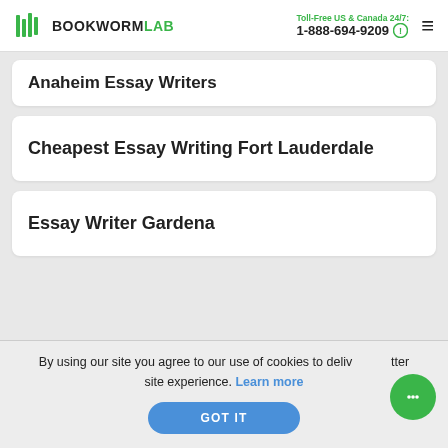BOOKWORMLAB | Toll-Free US & Canada 24/7: 1-888-694-9209
Anaheim Essay Writers
Cheapest Essay Writing Fort Lauderdale
Essay Writer Gardena
By using our site you agree to our use of cookies to deliver a better site experience. Learn more
GOT IT